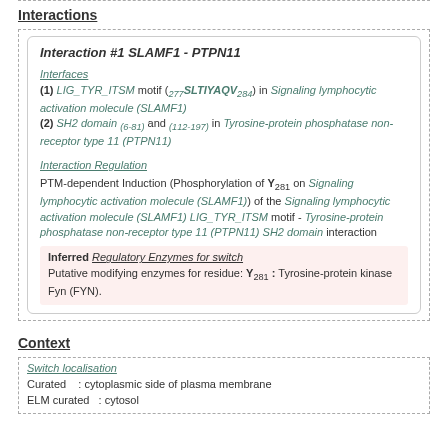Interactions
Interaction #1 SLAMF1 - PTPN11
Interfaces
(1) LIG_TYR_ITSM motif (277SLTIYAQV284) in Signaling lymphocytic activation molecule (SLAMF1)
(2) SH2 domain (6-81) and (112-197) in Tyrosine-protein phosphatase non-receptor type 11 (PTPN11)
Interaction Regulation
PTM-dependent Induction (Phosphorylation of Y281 on Signaling lymphocytic activation molecule (SLAMF1)) of the Signaling lymphocytic activation molecule (SLAMF1) LIG_TYR_ITSM motif - Tyrosine-protein phosphatase non-receptor type 11 (PTPN11) SH2 domain interaction
Inferred Regulatory Enzymes for switch
Putative modifying enzymes for residue: Y281 : Tyrosine-protein kinase Fyn (FYN).
Context
Switch localisation
Curated : cytoplasmic side of plasma membrane
ELM curated : cytosol